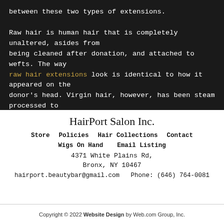between these two types of extensions.

Raw hair is human hair that is completely unaltered, asides from being cleaned after donation, and attached to wefts. The way raw hair extensions look is identical to how it appeared on the donor's head. Virgin hair, however, has been steam processed to create a consistent curl pattern, as well as increase the product's longevity.
HairPort Salon Inc.
Store   Policies   Hair Collections   Contact
Wigs On Hand   Email Listing
4371 White Plains Rd,
Bronx, NY  10467
hairport.beautybar@gmail.com  Phone: (646) 764-0081
Copyright © 2022 Website Design by Web.com Group, Inc.